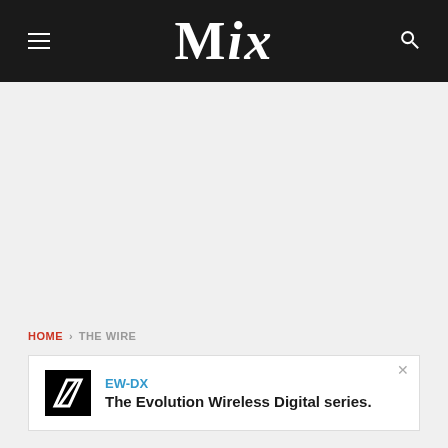MIX
HOME › THE WIRE
[Figure (other): Advertisement banner for Sennheiser EW-DX: The Evolution Wireless Digital series. Features Sennheiser logo in black box and text with close button.]